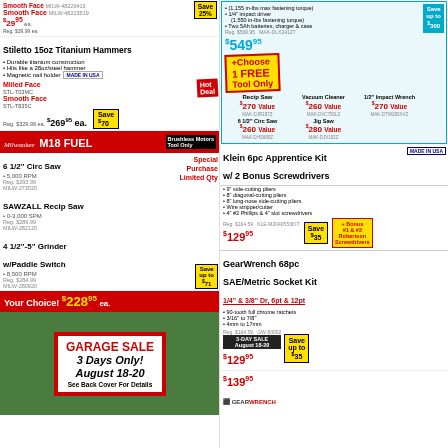Stiletto 15oz Titanium Hammers
Durable titanium construction
Hits like a 28oz/steel hammer
Magnetic nail holder
Milled Face STL-T03MC
Smooth Face STL-T835C Reg. $329.99 ea. $269.95 ea. Save $70
Milwaukee M18 FUEL
6 1/2" Circ Saw 5,000 RPM Reg. $293.99 MILW-273020
SAWZALL Recip Saw 0-3,000 SPM Reg. $289.99 MILW-282120
4 1/2"-5" Grinder w/Paddle Switch 8,500 RPM Reg. $284.99 MILW-280920
Special Purchase Limited Qty
Your Choice! $228.95 ea. Save up to $71
[Figure (infographic): Garage Sale sign on lawn: 3 DAYS ONLY! AUGUST 18-20 SEE BACK COVER FOR DETAILS]
Makita 18V LXT 2-Piece Combo Kit (1,155 in-lbs max fastening torque) 1/4" impact driver (1,550 in-lbs fastening torque) Two 5Ah batteries, charger & case Reg. $569.95 MAK-DLX2412T Save up to $300 $549.95
Choose 1 FREE Tool Only
Recip Saw $270 Value MAK-DJR187Z
1/2" Impact Wrench $270 Value MAK-DTW285XVZ
Vacuum Cleaner $260 Value MAK-DVC750LZ
6 1/2" Circ Saw $260 Value MAK-DHS680Z
Jig Saw $280 Value MAK-DJV182Z
Klein 6pc Apprentice Kit w/ 2 Bonus Screwdrivers
9" side-cutting pliers
8" diagonal-cutting pliers
8" long-nose side-cutting pliers
Wire stripper/cutter
4" #2 Phillips & 4" slot screwdrivers
Reg. $164.59 KLE-M2040553KIT Save $35 $129.95 + Bonus #1 & #2 Robertson Screwdrivers
GearWrench 68pc SAE/Metric Socket Kit
1/4" & 3/8" Dr, 6pt & 12pt
90-tooth full chrome ratchets
3/16" to 7/8"
4mm to 17mm
Reg. $164.59 GW-83002 3-DAY SALE August 18-20 $129.95 Save up to $35 $139.95